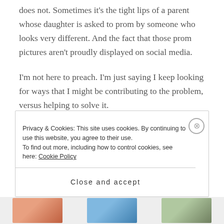does not. Sometimes it's the tight lips of a parent whose daughter is asked to prom by someone who looks very different. And the fact that those prom pictures aren't proudly displayed on social media.
I'm not here to preach. I'm just saying I keep looking for ways that I might be contributing to the problem, versus helping to solve it.
There are good police officers and bad ones. Good people of all races and bad ones. We are not absolutes and we need to stop looking for that safe, easy harbor.
Privacy & Cookies: This site uses cookies. By continuing to use this website, you agree to their use.
To find out more, including how to control cookies, see here: Cookie Policy
Close and accept